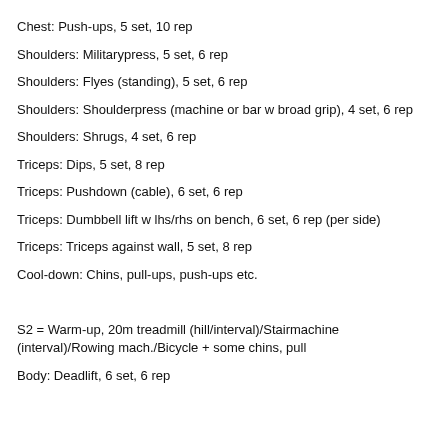Chest: Push-ups, 5 set, 10 rep
Shoulders: Militarypress, 5 set, 6 rep
Shoulders: Flyes (standing), 5 set, 6 rep
Shoulders: Shoulderpress (machine or bar w broad grip), 4 set, 6 rep
Shoulders: Shrugs, 4 set, 6 rep
Triceps: Dips, 5 set, 8 rep
Triceps: Pushdown (cable), 6 set, 6 rep
Triceps: Dumbbell lift w lhs/rhs on bench, 6 set, 6 rep (per side)
Triceps: Triceps against wall, 5 set, 8 rep
Cool-down: Chins, pull-ups, push-ups etc.
S2 = Warm-up, 20m treadmill (hill/interval)/Stairmachine (interval)/Rowing mach./Bicycle + some chins, pull
Body: Deadlift, 6 set, 6 rep